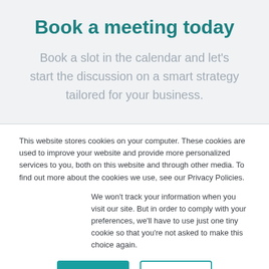Book a meeting today
Book a slot in the calendar and let's start the discussion on a smart strategy tailored for your business.
This website stores cookies on your computer. These cookies are used to improve your website and provide more personalized services to you, both on this website and through other media. To find out more about the cookies we use, see our Privacy Policies.
We won't track your information when you visit our site. But in order to comply with your preferences, we'll have to use just one tiny cookie so that you're not asked to make this choice again.